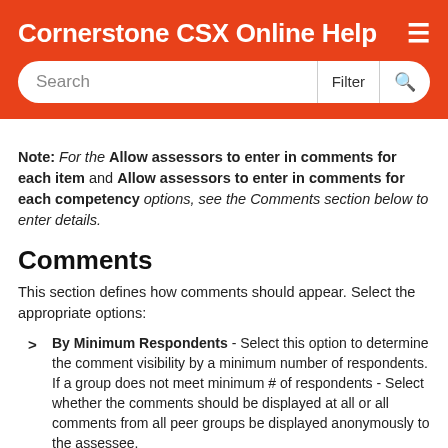Cornerstone CSX Online Help
Note: For the Allow assessors to enter in comments for each item and Allow assessors to enter in comments for each competency options, see the Comments section below to enter details.
Comments
This section defines how comments should appear. Select the appropriate options:
By Minimum Respondents - Select this option to determine the comment visibility by a minimum number of respondents. If a group does not meet minimum # of respondents - Select whether the comments should be displayed at all or all comments from all peer groups be displayed anonymously to the assessee.